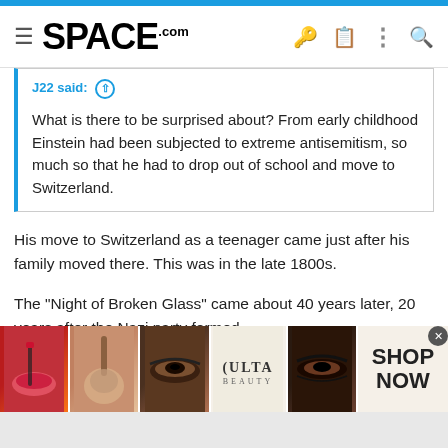SPACE.com
J22 said: ↑

What is there to be surprised about? From early childhood Einstein had been subjected to extreme antisemitism, so much so that he had to drop out of school and move to Switzerland.
His move to Switzerland as a teenager came just after his family moved there. This was in the late 1800s.
The "Night of Broken Glass" came about 40 years later, 20 years after the Nazi party formed.
He may have been withdrawn during his school years, perhaps, but he wasn't all that shy as an adult. Indeed, Einstein was not only not
[Figure (screenshot): ULTA Beauty advertisement banner with makeup images and SHOP NOW call to action]